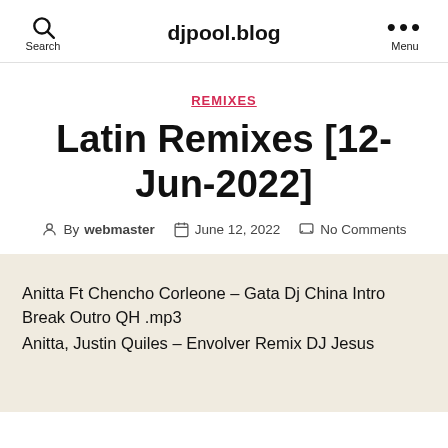djpool.blog
REMIXES
Latin Remixes [12-Jun-2022]
By webmaster   June 12, 2022   No Comments
Anitta Ft Chencho Corleone – Gata Dj China Intro Break Outro QH .mp3
Anitta, Justin Quiles – Envolver Remix DJ Jesus